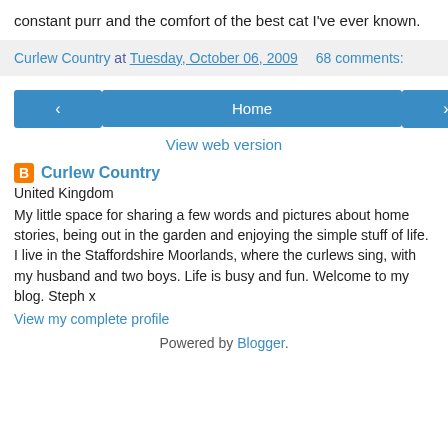constant purr and the comfort of the best cat I've ever known.
Curlew Country at Tuesday, October 06, 2009   68 comments:
[Figure (other): Navigation buttons: left arrow, Home, right arrow, and View web version link]
Curlew Country
United Kingdom
My little space for sharing a few words and pictures about home stories, being out in the garden and enjoying the simple stuff of life. I live in the Staffordshire Moorlands, where the curlews sing, with my husband and two boys. Life is busy and fun. Welcome to my blog. Steph x
View my complete profile
Powered by Blogger.